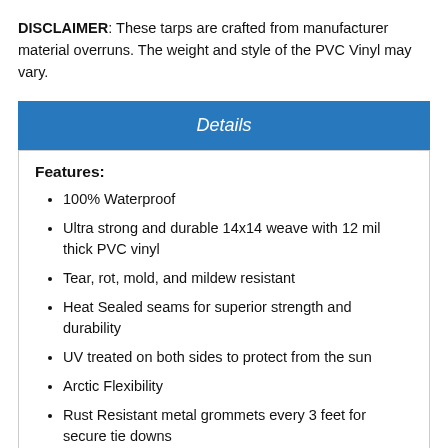DISCLAIMER: These tarps are crafted from manufacturer material overruns. The weight and style of the PVC Vinyl may vary.
Details
Features:
100% Waterproof
Ultra strong and durable 14x14 weave with 12 mil thick PVC vinyl
Tear, rot, mold, and mildew resistant
Heat Sealed seams for superior strength and durability
UV treated on both sides to protect from the sun
Arctic Flexibility
Rust Resistant metal grommets every 3 feet for secure tie downs